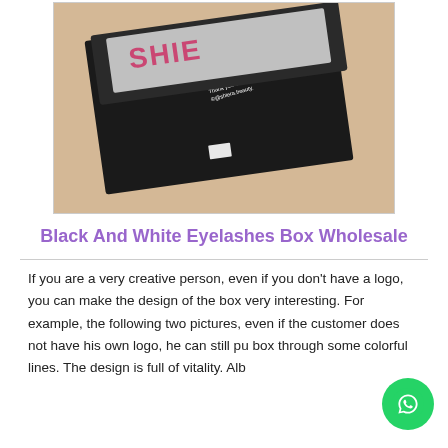[Figure (photo): A black eyelashes box opened showing silver interior with 'SHIE' branding in pink letters on the lid, and white text on the black exterior reading: ♥ All Things Beauty ♥ Hair Lashes and More, Thank you beautiful babe for your purchase, ©@shiera.beauty. The box sits on a tan/beige surface.]
Black And White Eyelashes Box Wholesale
If you are a very creative person, even if you don't have a logo, you can make the design of the box very interesting. For example, the following two pictures, even if the customer does not have his own logo, he can still pu box through some colorful lines. The design is full of vitality. Alb...